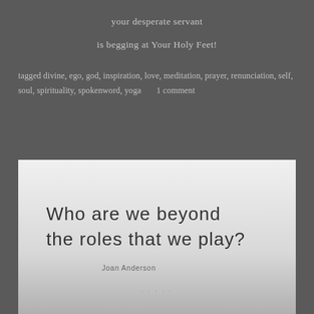your desperate servant
is begging at Your Holy Feet!
tagged divine, ego, god, inspiration, love, meditation, prayer, renunciation, self, soul, spirituality, spokenword, yoga     1 comment
[Figure (photo): Black and white image with text quote: 'Who are we beyond the roles that we play?' attributed to Joan Anderson, with a misty ocean or water scene in the background.]